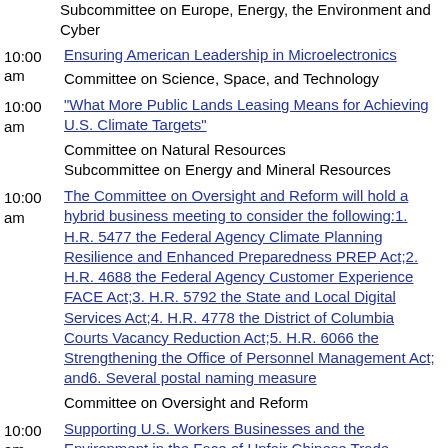Subcommittee on Europe, Energy, the Environment and Cyber
10:00 am — Ensuring American Leadership in Microelectronics
Committee on Science, Space, and Technology
10:00 am — "What More Public Lands Leasing Means for Achieving U.S. Climate Targets"
Committee on Natural Resources
Subcommittee on Energy and Mineral Resources
10:00 am — The Committee on Oversight and Reform will hold a hybrid business meeting to consider the following:1. H.R. 5477 the Federal Agency Climate Planning Resilience and Enhanced Preparedness PREP Act;2. H.R. 4688 the Federal Agency Customer Experience FACE Act;3. H.R. 5792 the State and Local Digital Services Act;4. H.R. 4778 the District of Columbia Courts Vacancy Reduction Act;5. H.R. 6066 the Strengthening the Office of Personnel Management Act; and6. Several postal naming measure
Committee on Oversight and Reform
10:00 am — Supporting U.S. Workers Businesses and the Environment in the Face of Unfair Chinese Trade Practices
Committee on Ways and Means